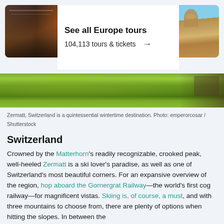[Figure (other): Card row with restaurant interior photo on left, white card with 'See all Europe tours' text in center, Rome cityscape photo on right]
See all Europe tours
104,113 tours & tickets →
[Figure (photo): Wide landscape photo of Zermatt, Switzerland showing green hillside vegetation]
Zermatt, Switzerland is a quintessential wintertime destination. Photo: emperorcosar / Shutterstock
Switzerland
Crowned by the Matterhorn's readily recognizable, crooked peak, well-heeled Zermatt is a ski lover's paradise, as well as one of Switzerland's most beautiful corners. For an expansive overview of the region, hop aboard the Gornergrat Railway—the world's first cog railway—for magnificent vistas. Skiing is, of course, a must, and with three mountains to choose from, there are plenty of options when hitting the slopes. In between the